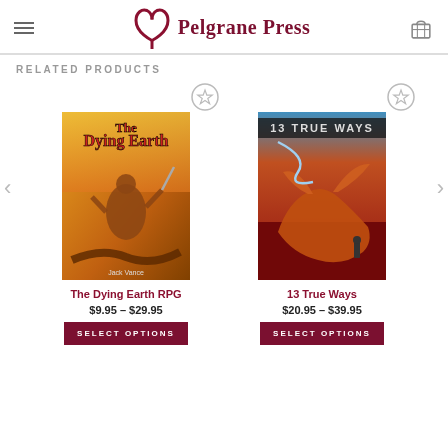Pelgrane Press
RELATED PRODUCTS
[Figure (photo): Book cover of The Dying Earth RPG — a fantasy RPG book with warrior figure on cover]
The Dying Earth RPG
$9.95 – $29.95
[Figure (photo): Book cover of 13 True Ways — a fantasy book with dragon on red desert landscape]
13 True Ways
$20.95 – $39.95